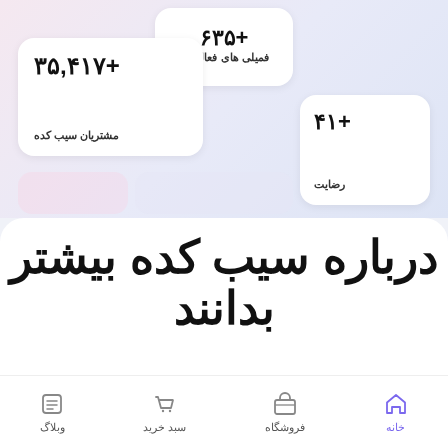+۶۳۵
فمیلی های فعال اپل
+۳۵,۴۱۷
مشتریان سیب کده
+۴۱
رضایت
درباره سیب کده بیشتر بدانند
وبلاگ  سبد خرید  فروشگاه  خانه